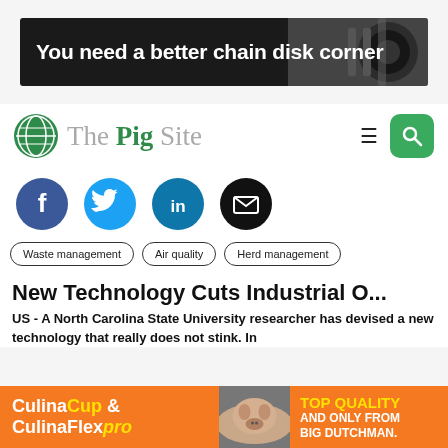[Figure (illustration): Dark banner advertisement with white bold text reading 'You need a better chain disk corner' and an image of a chain disk on the right]
[Figure (logo): The Pig Site logo with green globe icon and text 'The Pig Site' in grey and green serif font, with hamburger menu and green search button on the right]
[Figure (infographic): Four social media circular icons: Facebook (dark blue), Twitter (light blue), LinkedIn (blue), Email (black)]
Waste management
Air quality
Herd management
New Technology Cuts Industrial O...
US - A North Carolina State University researcher has devised a new technology that really does not stink. In
[Figure (illustration): Bottom banner advertisement: orange background with 'CulinaCup & CulinaFlexpro' on left in white/yellow, pig photo in center, 'TOP QUALITY AND ONLY FROM BIG DUTCHMAN.' text on right in yellow/white]